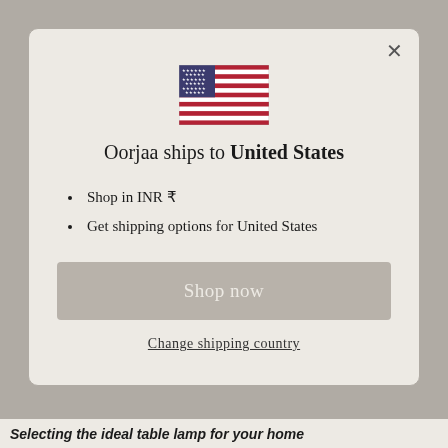[Figure (illustration): US flag icon centered in modal dialog]
Oorjaa ships to United States
Shop in INR ₹
Get shipping options for United States
Shop now
Change shipping country
Selecting the ideal table lamp for your home